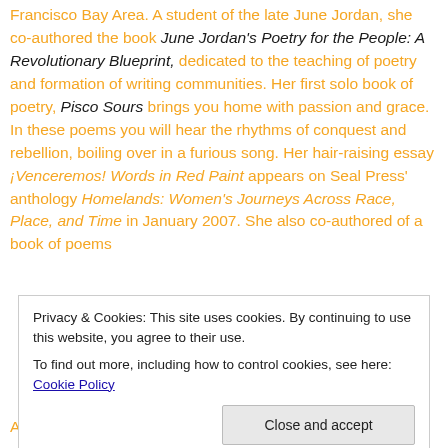Francisco Bay Area.  A student of the late June Jordan, she co-authored the book June Jordan's Poetry for the People: A Revolutionary Blueprint, dedicated to the teaching of poetry and formation of writing communities.  Her first solo book of poetry, Pisco Sours brings you home with passion and grace.  In these poems you will hear the rhythms of conquest and rebellion, boiling over in a furious song.  Her hair-raising essay ¡Venceremos! Words in Red Paint appears on Seal Press' anthology Homelands: Women's Journeys Across Race, Place, and Time in January 2007.  She also co-authored of a book of poems
Privacy & Cookies: This site uses cookies. By continuing to use this website, you agree to their use.
To find out more, including how to control cookies, see here: Cookie Policy
Ananda recently FINISHED her first novel, The